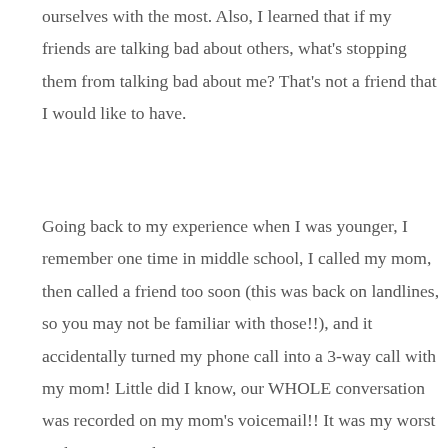ourselves with the most. Also, I learned that if my friends are talking bad about others, what's stopping them from talking bad about me? That's not a friend that I would like to have.
Going back to my experience when I was younger, I remember one time in middle school, I called my mom, then called a friend too soon (this was back on landlines, so you may not be familiar with those!!), and it accidentally turned my phone call into a 3-way call with my mom! Little did I know, our WHOLE conversation was recorded on my mom's voicemail!! It was my worst nightmare. On that